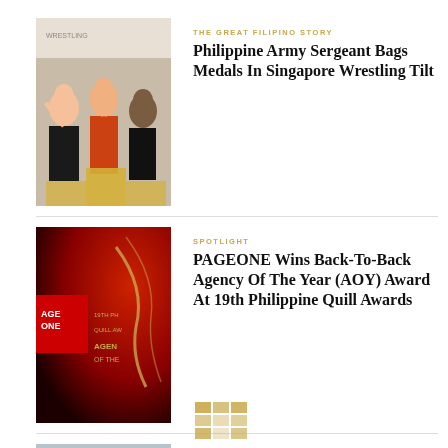[Figure (photo): Three athletes on a podium at a wrestling competition, raising arms. Background shows wrestling event banners.]
THE GREAT FILIPINO STORY
Philippine Army Sergeant Bags Medals In Singapore Wrestling Tilt
[Figure (photo): Dark red background with gold text reading AGENCY OF THE and PAGEONE logo in red box on left side.]
SPOTLIGHT
PAGEONE Wins Back-To-Back Agency Of The Year (AOY) Award At 19th Philippine Quill Awards
[Figure (photo): Portrait of a middle-aged Asian man in a dark suit and tie, smiling.]
SPOTLIGHT
Udenna Corp. Is On The Lookout For Strategic Partners
[Figure (logo): Small grid/mosaic logo at bottom center of the page.]